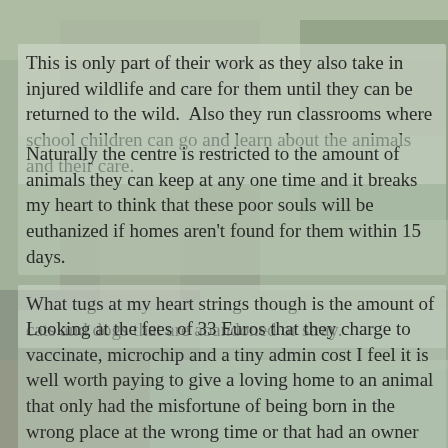[Figure (photo): Background photo of a residential street and garden area, overlaid with semi-transparent white areas behind the text blocks.]
This is only part of their work as they also take in injured wildlife and care for them until they can be returned to the wild.  Also they run classrooms where school children can go and learn about the animals and their care.
What tugs at my heart strings though is the amount of cats and dogs that are abandoned or stray.
Naturally the centre is restricted to the amount of animals they can keep at any one time and it breaks my heart to think that these poor souls will be euthanized if homes aren't found for them within 15 days.
Looking at the fees of 33 Euros that they charge to vaccinate, microchip and a tiny admin cost I feel it is well worth paying to give a loving home to an animal that only had the misfortune of being born in the wrong place at the wrong time or that had an owner that no longer could or would care for it.